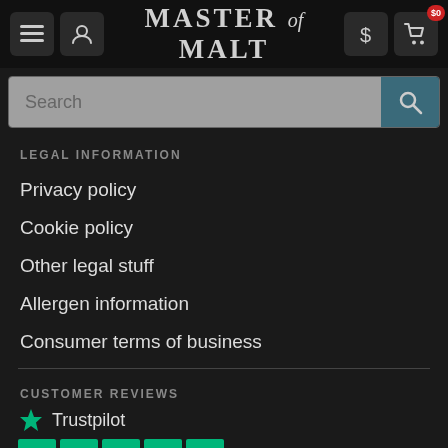Master of Malt — Navigation header with menu, profile, dollar sign, and cart icons. Cart shows $0.
Search
LEGAL INFORMATION
Privacy policy
Cookie policy
Other legal stuff
Allergen information
Consumer terms of business
CUSTOMER REVIEWS
[Figure (logo): Trustpilot logo with green star and text 'Trustpilot', followed by a row of five green Trustpilot star rating boxes]